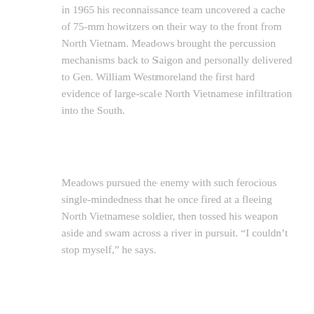in 1965 his reconnaissance team uncovered a cache of 75-mm howitzers on their way to the front from North Vietnam. Meadows brought the percussion mechanisms back to Saigon and personally delivered to Gen. William Westmoreland the first hard evidence of large-scale North Vietnamese infiltration into the South.
Meadows pursued the enemy with such ferocious single-mindedness that he once fired at a fleeing North Vietnamese soldier, then tossed his weapon aside and swam across a river in pursuit. “I couldn’t stop myself,” he says.